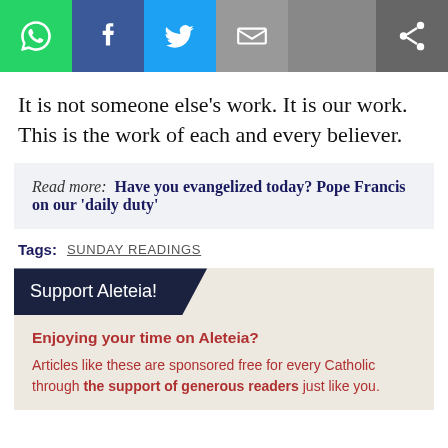[Figure (other): Social share bar with WhatsApp, Facebook, Twitter, Email, and generic share buttons]
It is not someone else’s work. It is our work. This is the work of each and every believer.
Read more:   Have you evangelized today? Pope Francis on our ‘daily duty’
Tags:   SUNDAY READINGS
Support Aleteia!
Enjoying your time on Aleteia?
Articles like these are sponsored free for every Catholic through the support of generous readers just like you.